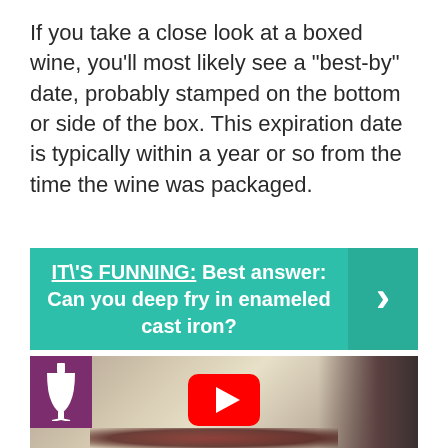If you take a close look at a boxed wine, you'll most likely see a “best-by” date, probably stamped on the bottom or side of the box. This expiration date is typically within a year or so from the time the wine was packaged.
IT\'S FUNNING:  Best answer: Can you deep fry in enameled cast iron?
[Figure (photo): Photo showing a wine bottle being tilted over a shiny surface with wine spilling, a purple wine glass icon in upper left, and a YouTube play button overlay in the center.]